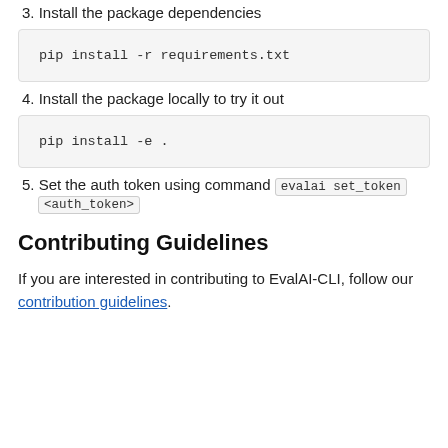3. Install the package dependencies
pip install -r requirements.txt
4. Install the package locally to try it out
pip install -e .
5. Set the auth token using command evalai set_token <auth_token>
Contributing Guidelines
If you are interested in contributing to EvalAI-CLI, follow our contribution guidelines.